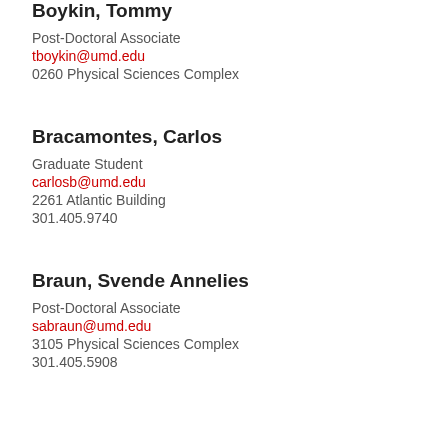Boykin, Tommy
Post-Doctoral Associate
tboykin@umd.edu
0260 Physical Sciences Complex
Bracamontes, Carlos
Graduate Student
carlosb@umd.edu
2261 Atlantic Building
301.405.9740
Braun, Svende Annelies
Post-Doctoral Associate
sabraun@umd.edu
3105 Physical Sciences Complex
301.405.5908